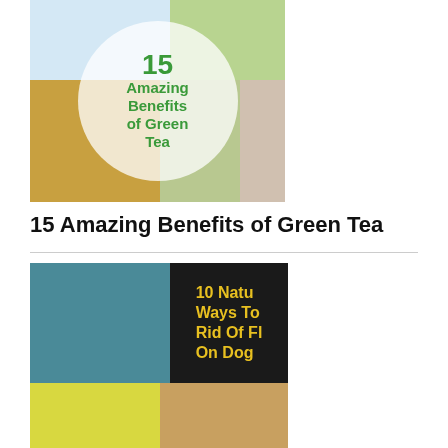[Figure (photo): Collage image showing woman with measuring tape around waist, cup of green tea, green tea leaves, and woman's face, with a circular white overlay containing the text '15 Amazing Benefits of Green Tea' in green bold font.]
15 Amazing Benefits of Green Tea
[Figure (photo): Collage image showing a bulldog licking its nose on the left against a teal background, large bold yellow text on dark background reading '10 Natu Ways To Rid Of Fl On Dog', lemons in the bottom left, and a jar with powder in the bottom right.]